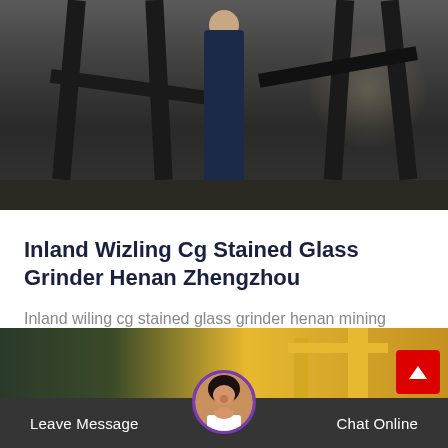[Figure (photo): Industrial/mining scene photo showing a person in dark blue work clothes standing among heavy wooden or metal support structures, with dark ground below]
Inland Wizling Cg Stained Glass Grinder Henan Zhengzhou
Inland wiling cg stained glass grinder henan mining glass grinder for sale ebay buy glass grinder and get the best deals at the lowest…
[Figure (photo): Industrial scene showing yellow crane machinery against a dark/green background]
Leave Message   Chat Online